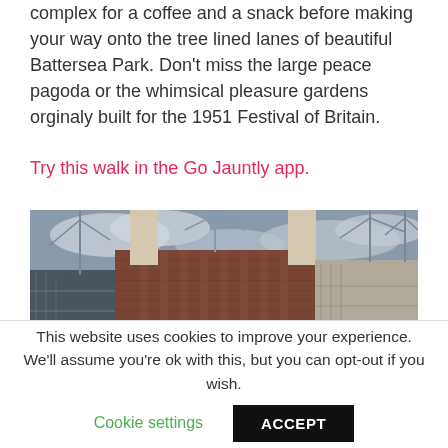complex for a coffee and a snack before making your way onto the tree lined lanes of beautiful Battersea Park. Don't miss the large peace pagoda or the whimsical pleasure gardens orginaly built for the 1951 Festival of Britain.
Try this walk in the Go Jauntly app.
[Figure (photo): Photograph of Battersea Power Station under construction/renovation, showing the large brick building with chimneys and surrounding construction cranes against a cloudy sky.]
This website uses cookies to improve your experience. We'll assume you're ok with this, but you can opt-out if you wish.
Cookie settings   ACCEPT